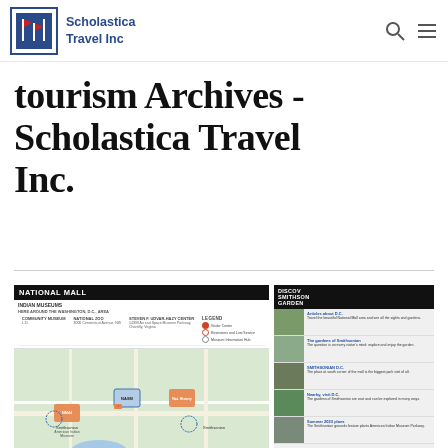Scholastica Travel Inc
tourism Archives - Scholastica Travel Inc.
[Figure (map): Map of Indian Museums near Washington D.C. area / National Mall, with sidebar showing Smithsonian Gardens and thumbnail article images]